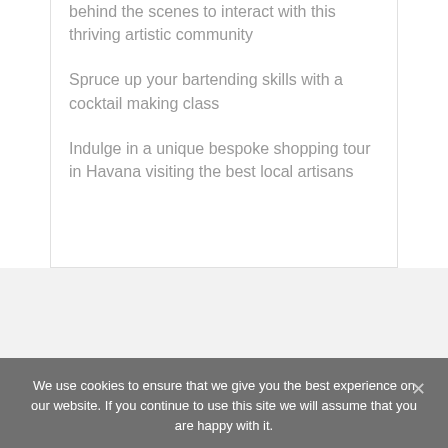behind the scenes to interact with this thriving artistic community
Spruce up your bartending skills with a cocktail making class
Indulge in a unique bespoke shopping tour in Havana visiting the best local artisans
We use cookies to ensure that we give you the best experience on our website. If you continue to use this site we will assume that you are happy with it.
Ok